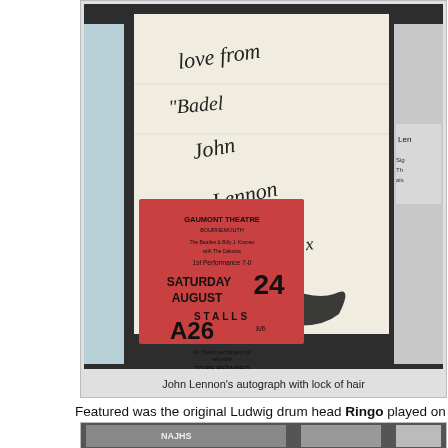[Figure (photo): Photo of John Lennon's autograph on a piece of paper alongside a red Gaumont Theatre Bournemouth concert ticket dated Saturday August 24, Stalls A26, 1st Performance 7-0, The Beatles & Billy J. Kramer with The Dakotas. The autograph reads 'love from Badel John Lennon x x'. Also visible is a lock of hair and part of an adjacent display.]
John Lennon's autograph with lock of hair
Featured was the original Ludwig drum head Ringo played on "The Ed Sulli...
[Figure (photo): Bottom portion of another framed display item, partially visible.]